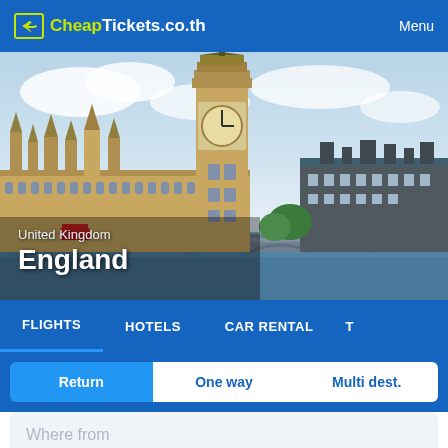CheapTickets.co.th — Menu
[Figure (photo): Photo of the Palace of Westminster (UK Parliament) and Big Ben clock tower with Westminster Bridge in London, England. Sky with clouds visible, river Thames in foreground.]
United Kingdom
England
FLIGHTS  HOTELS  CAR RENTAL  T...
Return  One way  Multi dest.
Where from
Where to